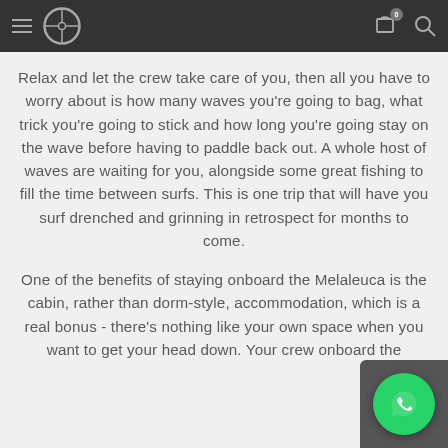Navigation bar with hamburger menu, logo, cart icon (0), and search icon
Relax and let the crew take care of you, then all you have to worry about is how many waves you're going to bag, what trick you're going to stick and how long you're going stay on the wave before having to paddle back out. A whole host of waves are waiting for you, alongside some great fishing to fill the time between surfs. This is one trip that will have you surf drenched and grinning in retrospect for months to come.
One of the benefits of staying onboard the Melaleuca is the cabin, rather than dorm-style, accommodation, which is a real bonus - there's nothing like your own space when you want to get your head down. Your crew onboard the